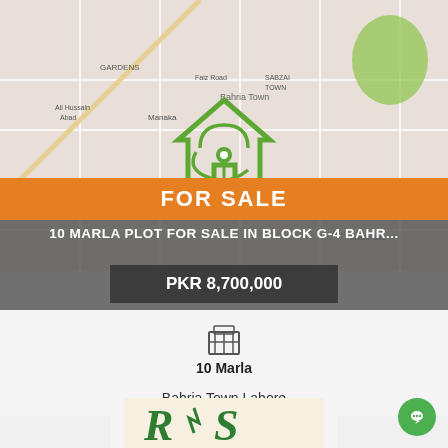[Figure (map): Street map of Bahria Town Lahore area with a green house/home icon overlaid on the map, showing surrounding neighborhoods including Manaka, Ali Hussain Abad, Jhugian, and other areas. A green location pin is visible at the center.]
FOR SALE
10 MARLA PLOT FOR SALE IN BLOCK G-4 BAHR...
PKR 8,700,000
10 Marla
Bahria Town Lahore
[Figure (logo): Green stylized 'RS' or currency/company logo on a light background]